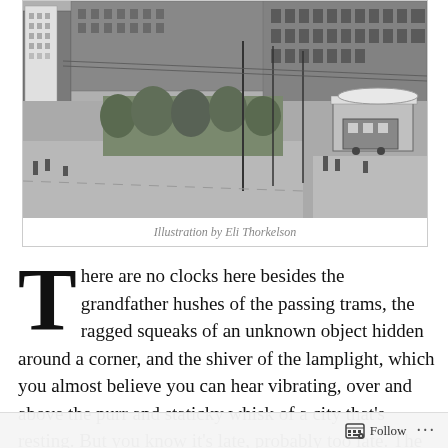[Figure (illustration): Black and white illustration of a wide urban boulevard with buildings, trams, trees, and street poles — a historic European city scene viewed from an elevated angle.]
Illustration by Eli Thorkelson
There are no clocks here besides the grandfather hushes of the passing trams, the ragged squeaks of an unknown object hidden around a corner, and the shiver of the lamplight, which you almost believe you can hear vibrating, over and above the purr and staticky whisk of a city that's resting. But you know it's late, probably too late. The long